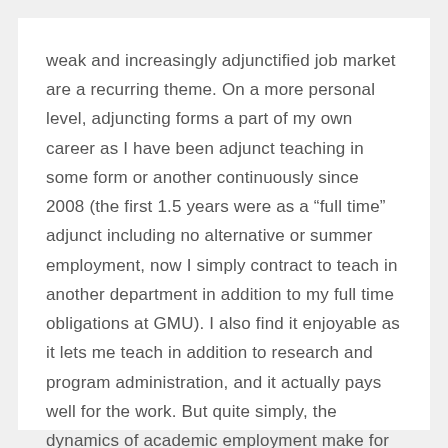weak and increasingly adjunctified job market are a recurring theme. On a more personal level, adjuncting forms a part of my own career as I have been adjunct teaching in some form or another continuously since 2008 (the first 1.5 years were as a “full time” adjunct including no alternative or summer employment, now I simply contract to teach in another department in addition to my full time obligations at GMU). I also find it enjoyable as it lets me teach in addition to research and program administration, and it actually pays well for the work. But quite simply, the dynamics of academic employment make for a fascinating topic of study.